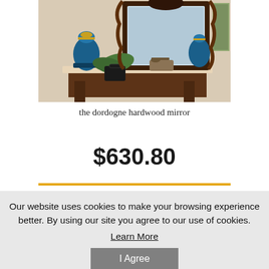[Figure (photo): A decorative hardwood mirror with ornate dark carved frame displayed on a console table with blue decorative urns, a vintage telephone, and tropical plants in an elegant interior setting]
the dordogne hardwood mirror
$630.80
Our website uses cookies to make your browsing experience better. By using our site you agree to our use of cookies. Learn More
I Agree